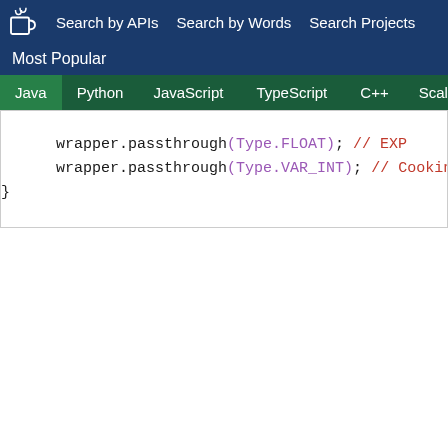Search by APIs  Search by Words  Search Projects
Most Popular
Java  Python  JavaScript  TypeScript  C++  Scala
wrapper.passthrough(Type.FLOAT); // EXP
    wrapper.passthrough(Type.VAR_INT); // Cooking ti
}